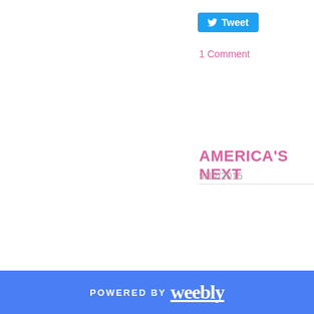[Figure (other): Twitter Tweet button - blue rounded button with Twitter bird icon and 'Tweet' text]
1 Comment
AMERICA'S NEXT
9/12/2015
POWERED BY weebly